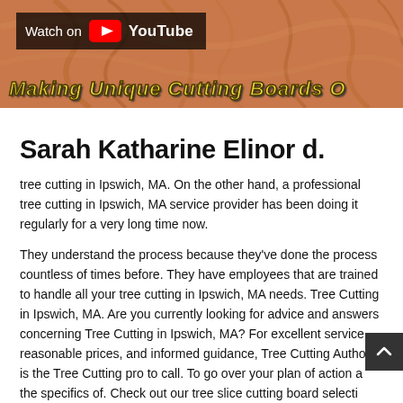[Figure (screenshot): YouTube video thumbnail showing 'Watch on YouTube' badge over a wood cutting board background with italic title text 'Making Unique Cutting Boards O...']
Sarah Katharine Elinor d.
tree cutting in Ipswich, MA. On the other hand, a professional tree cutting in Ipswich, MA service provider has been doing it regularly for a very long time now.
They understand the process because they've done the process countless of times before. They have employees that are trained to handle all your tree cutting in Ipswich, MA needs. Tree Cutting in Ipswich, MA. Are you currently looking for advice and answers concerning Tree Cutting in Ipswich, MA? For excellent service, reasonable prices, and informed guidance, Tree Cutting Authority is the Tree Cutting pro to call. To go over your plan of action a the specifics of. Check out our tree slice cutting board selecti